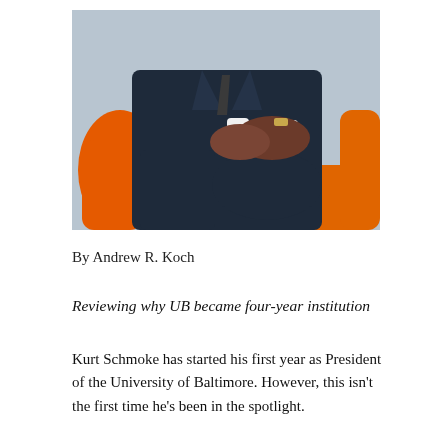[Figure (photo): A person in a dark navy suit sitting on an orange chair with hands clasped, torso and hands visible, no face shown.]
By Andrew R. Koch
Reviewing why UB became four-year institution
Kurt Schmoke has started his first year as President of the University of Baltimore. However, this isn't the first time he's been in the spotlight.